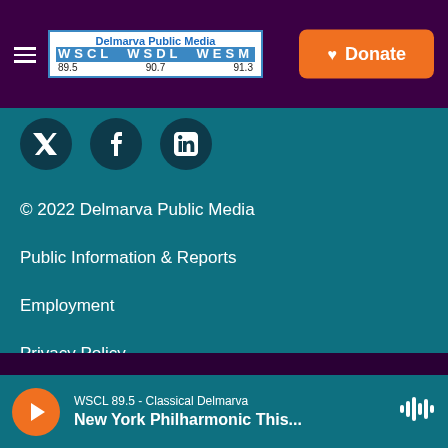Delmarva Public Media WSCL WSDL WESM 89.5 90.7 91.3 | Donate
[Figure (logo): Delmarva Public Media logo with WSCL WSDL WESM radio stations at 89.5 90.7 91.3]
© 2022 Delmarva Public Media
Public Information & Reports
Employment
Privacy Policy
Contact Us
WSCL 89.5 - Classical Delmarva | New York Philharmonic This...